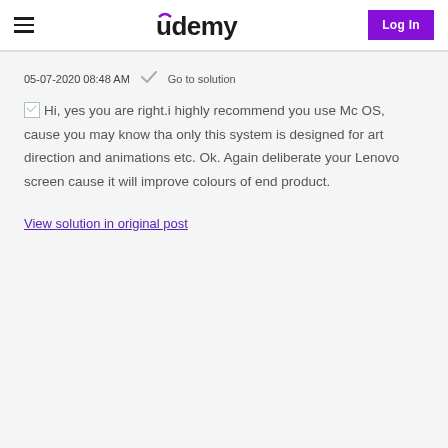Udemy — Log In
05-07-2020 08:48 AM  ✓  Go to solution
☑ Hi, yes you are right.i highly recommend you use Mc OS, cause you may know tha only this system is designed for art direction and animations etc. Ok. Again deliberate your Lenovo screen cause it will improve colours of end product.
View solution in original post